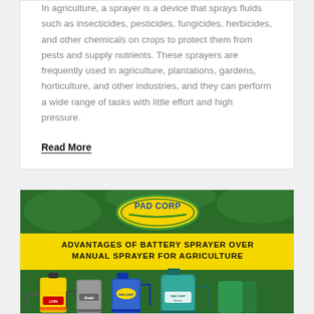In agriculture, a sprayer is a device that sprays fluids such as insecticides, pesticides, fungicides, herbicides, and other chemicals on crops to protect them from pests and supply nutrients. These sprayers are frequently used in agriculture, plantations, gardens, horticulture, and other industries, and they can perform a wide range of tasks with little effort and high pressure.
Read More
[Figure (photo): Advertisement image for PAD CORP showing advantages of battery sprayer over manual sprayer for agriculture. Green background with PAD CORP logo oval at top, yellow banner with bold text 'ADVANTAGES OF BATTERY SPRAYER OVER MANUAL SPRAYER FOR AGRICULTURE', and four agricultural sprayers shown at bottom: yellow backpack sprayer, grey sprayer, blue backpack sprayer, and teal/green backpack sprayer.]